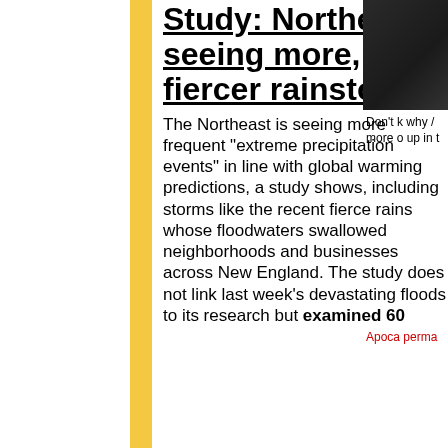Study: Northeast seeing more, fiercer rainstorms
The Northeast is seeing more frequent "extreme precipitation events" in line with global warming predictions, a study shows, including storms like the recent fierce rains whose floodwaters swallowed neighborhoods and businesses across New England. The study does not link last week's devastating floods to its research but examined 60
[Figure (photo): Partial photo of a person, cropped at right edge of the page]
Don't k why / more c up in t
Apoca perma